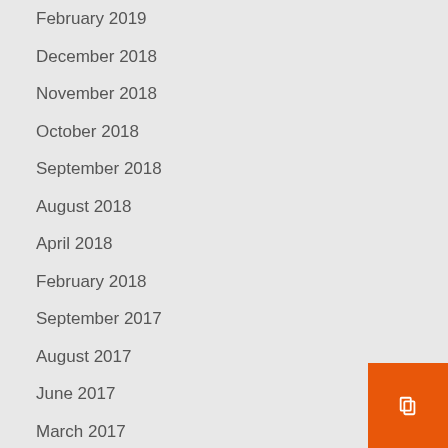February 2019
December 2018
November 2018
October 2018
September 2018
August 2018
April 2018
February 2018
September 2017
August 2017
June 2017
March 2017
January 2017